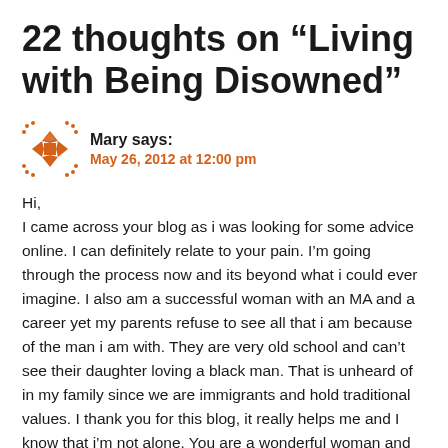22 thoughts on “Living with Being Disowned”
Mary says:
May 26, 2012 at 12:00 pm
Hi,
I came across your blog as i was looking for some advice online. I can definitely relate to your pain. I’m going through the process now and its beyond what i could ever imagine. I also am a successful woman with an MA and a career yet my parents refuse to see all that i am because of the man i am with. They are very old school and can’t see their daughter loving a black man. That is unheard of in my family since we are immigrants and hold traditional values. I thank you for this blog, it really helps me and I know that i’m not alone. You are a wonderful woman and